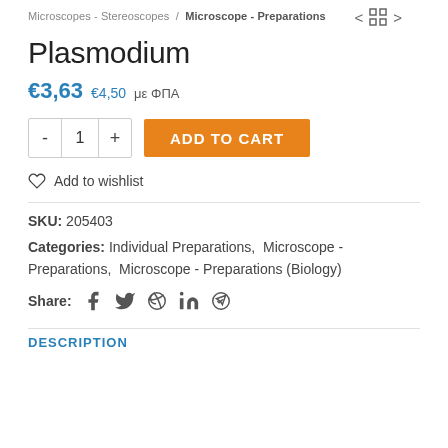Microscopes - Stereoscopes / Microscope - Preparations
Plasmodium
€3,63  €4,50  με ΦΠΑ
- 1 +  ADD TO CART
Add to wishlist
SKU: 205403
Categories: Individual Preparations, Microscope - Preparations, Microscope - Preparations (Biology)
Share: